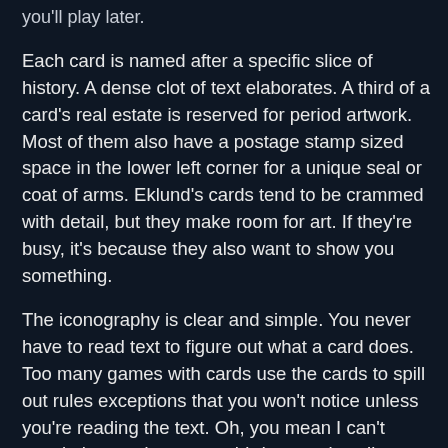you'll play later.
Each card is named after a specific slice of history. A dense clot of text elaborates. A third of a card's real estate is reserved for period artwork. Most of them also have a postage stamp sized space in the lower left corner for a unique seal or coat of arms. Eklund's cards tend to be crammed with detail, but they make room for art. If they're busy, it's because they also want to show you something.
The iconography is clear and simple. You never have to read text to figure out what a card does. Too many games with cards use the cards to spill out rules exceptions that you won't notice unless you're reading the text. Oh, you mean I can't attack that card on every third turn unless I'm using orange mana? Yep, sure enough, it says so right there in small print! Cards often double as additional pages in the rules book. This is never the case in Pax Renaissance. Everything a card on the table does is presented in clear, simple, and consistent iconography.
This is where Pax Renaissance's uniquely Eklund specificity comes into play. Let's consider France. There are nine cards